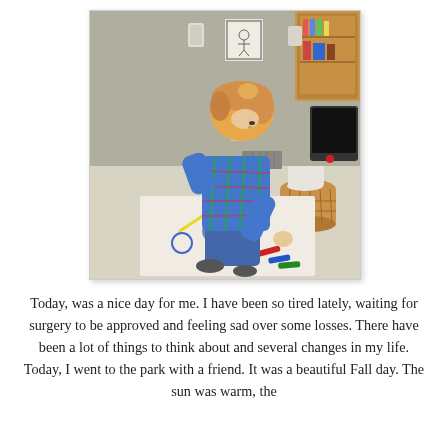[Figure (photo): A young toddler with strawberry-blonde hair, wearing a blue and green plaid shirt, crouching over a large sheet of white paper on the floor drawing with crayons. A wicker basket and wooden cabinetry are visible in the background.]
Today, was a nice day for me. I have been so tired lately, waiting for surgery to be approved and feeling sad over some losses. There have been a lot of things to think about and several changes in my life. Today, I went to the park with a friend. It was a beautiful Fall day. The sun was warm, the